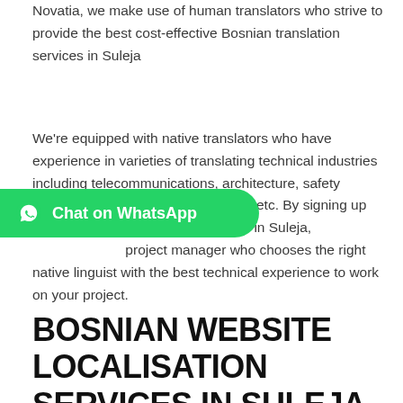Novatia, we make use of human translators who strive to provide the best cost-effective Bosnian translation services in Suleja
We're equipped with native translators who have experience in varieties of translating technical industries including telecommunications, architecture, safety reports, patents, technical manuals, etc. By signing up for our Bosnian translation services in Suleja, project manager who chooses the right native linguist with the best technical experience to work on your project.
[Figure (other): Chat on WhatsApp button overlay — green pill-shaped button with WhatsApp logo icon and white text 'Chat on WhatsApp']
BOSNIAN WEBSITE LOCALISATION SERVICES IN SULEJA